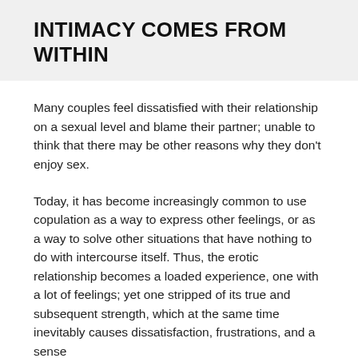INTIMACY COMES FROM WITHIN
Many couples feel dissatisfied with their relationship on a sexual level and blame their partner; unable to think that there may be other reasons why they don't enjoy sex.
Today, it has become increasingly common to use copulation as a way to express other feelings, or as a way to solve other situations that have nothing to do with intercourse itself. Thus, the erotic relationship becomes a loaded experience, one with a lot of feelings; yet one stripped of its true and subsequent strength, which at the same time inevitably causes dissatisfaction, frustrations, and a sense